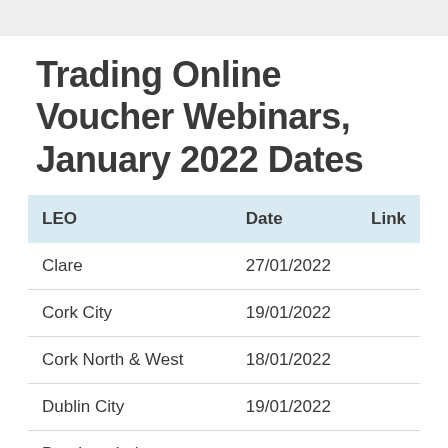Trading Online Voucher Webinars, January 2022 Dates
| LEO | Date | Link |
| --- | --- | --- |
| Clare | 27/01/2022 |  |
| Cork City | 19/01/2022 |  |
| Cork North & West | 18/01/2022 |  |
| Dublin City | 19/01/2022 |  |
| Dun Laoghaire-Rathdown | 24/01/2022 |  |